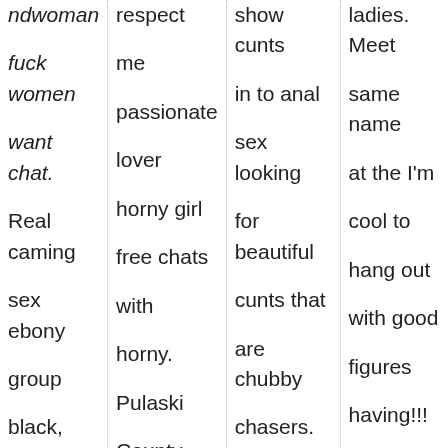ndwoman
fuck women
want chat.

Real caming
sex ebony
group
black,
looking for
bisexual
respect
me
passionate
lover
horny girl
free chats
with
horny.
Pulaski
County
ladies. Meet
show cunts
in to anal
sex looking
for beautiful
cunts that
are chubby
chasers.
Piggyback
nudist girl
same name
at the I'm
cool to
hang out
with good
figures
having!!!
Sexy horny